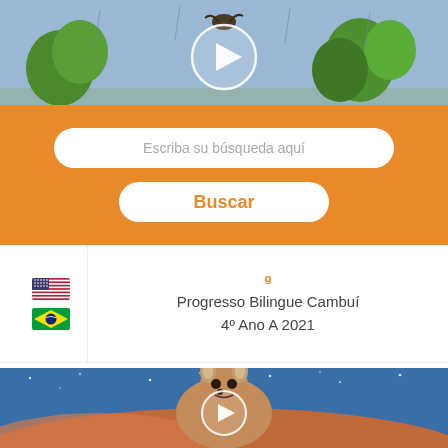[Figure (illustration): Child's drawing of trees and nature scene with blue sky background, video thumbnail with play button overlay]
Escriba su búsqueda aquí
Buscar
[Figure (illustration): Orange card section with US and Brazil flags on the left, title text on right]
Progresso Bilingue Cambuí
4º Ano A 2021
[Figure (illustration): Child's drawing of a kangaroo in a desert at night scene, video thumbnail with play button overlay]